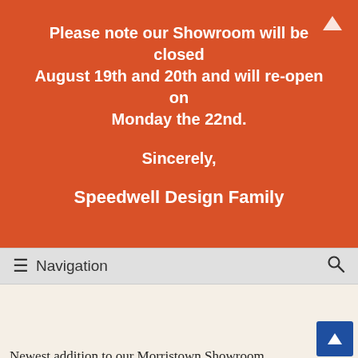Please note our Showroom will be closed August 19th and 20th and will re-open on Monday the 22nd.

Sincerely,

Speedwell Design Family
Navigation
[Figure (photo): Close-up photo of hardwood flooring planks in dark brown tones]
Newest addition to our Morristown Showroom. Offering beauty, durability, and performance, Mannington Hardwood Floors are designed to reflect the latest trends in American styles